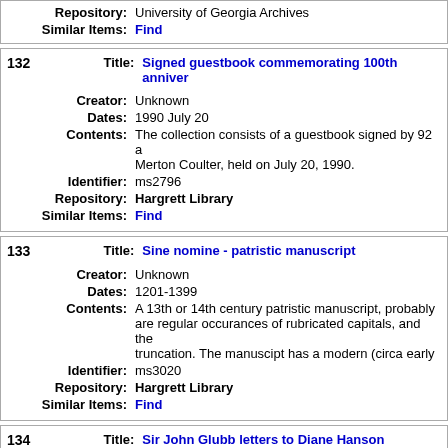Repository: University of Georgia Archives
Similar Items: Find
132 Title: Signed guestbook commemorating 100th anniversary
Creator: Unknown
Dates: 1990 July 20
Contents: The collection consists of a guestbook signed by 92 a... Merton Coulter, held on July 20, 1990.
Identifier: ms2796
Repository: Hargrett Library
Similar Items: Find
133 Title: Sine nomine - patristic manuscript
Creator: Unknown
Dates: 1201-1399
Contents: A 13th or 14th century patristic manuscript, probably... are regular occurances of rubricated capitals, and the... truncation. The manuscipt has a modern (circa early
Identifier: ms3020
Repository: Hargrett Library
Similar Items: Find
134 Title: Sir John Glubb letters to Diane Hanson